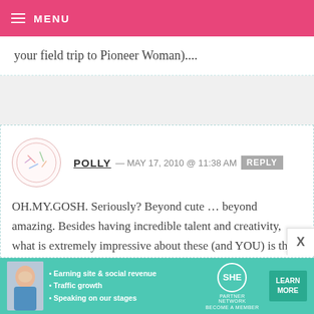MENU
your field trip to Pioneer Woman)....
POLLY — MAY 17, 2010 @ 11:38 AM REPLY
OH.MY.GOSH. Seriously? Beyond cute … beyond amazing. Besides having incredible talent and creativity, what is extremely impressive about these (and YOU) is the patience it must take to make them …. wow.
[Figure (infographic): SHE Partner Network advertisement banner with photo of woman, bullet points about earning site & social revenue, traffic growth, speaking on our stages, SHE logo, and LEARN MORE button]